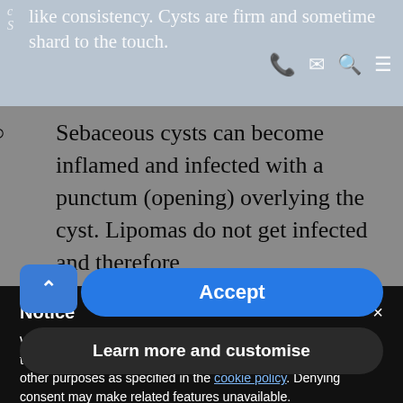like consistency. Cysts are firm and sometime shard to the touch.
Sebaceous cysts can become inflamed and infected with a punctum (opening) overlying the cyst. Lipomas do not get infected and therefore
Notice
We and selected third parties use cookies or similar technologies for technical purposes and, with your consent, for other purposes as specified in the cookie policy. Denying consent may make related features unavailable.
Use the “Accept” button or close this notice to consent to the use of such technologies.
Accept
Learn more and customise